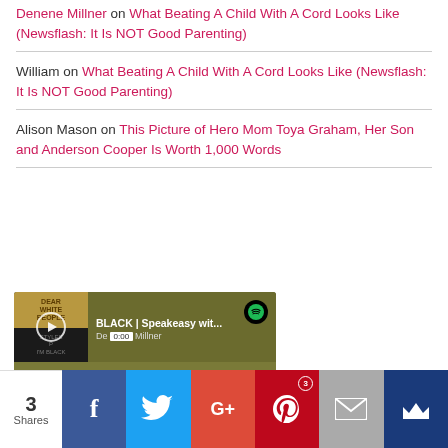Denene Millner on What Beating A Child With A Cord Looks Like (Newsflash: It Is NOT Good Parenting)
William on What Beating A Child With A Cord Looks Like (Newsflash: It Is NOT Good Parenting)
Alison Mason on This Picture of Hero Mom Toya Graham, Her Son and Anderson Cooper Is Worth 1,000 Words
[Figure (screenshot): Spotify embedded music player showing 'BLACK | Speakeasy wit...' by Denene Millner, with album art, play button, progress bar at 0:00, and track listing showing '1  Black America Again  6:05']
[Figure (infographic): Social sharing bar at bottom with share count of 3 Shares, and buttons for Facebook, Twitter, Google+, Pinterest (with badge 3), Email, and a crown/bookmark button]